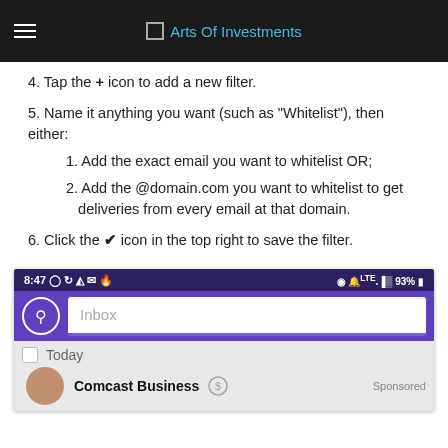Arts Of Investments
4. Tap the + icon to add a new filter.
5. Name it anything you want (such as “Whitelist”), then either:
1. Add the exact email you want to whitelist OR;
2. Add the @domain.com you want to whitelist to get deliveries from every email at that domain.
6. Click the ✔ icon in the top right to save the filter.
[Figure (screenshot): Mobile email app screenshot showing status bar with 8:47 and 93% battery, an inbox search bar, a Today label, and a Comcast Business sponsored email preview.]